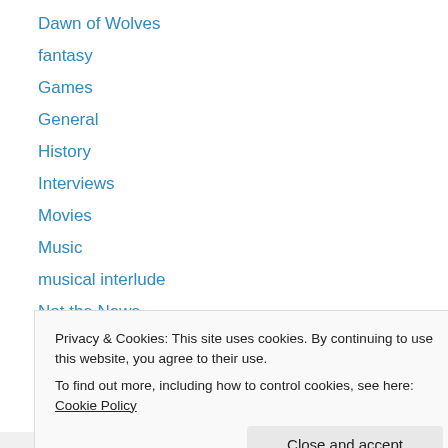Dawn of Wolves
fantasy
Games
General
History
Interviews
Movies
Music
musical interlude
Not the News
Peregrine and Blade
Pure Escapism
Purple Prose
Privacy & Cookies: This site uses cookies. By continuing to use this website, you agree to their use. To find out more, including how to control cookies, see here: Cookie Policy
Close and accept